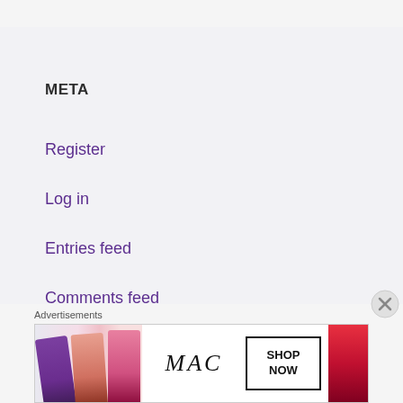META
Register
Log in
Entries feed
Comments feed
WordPress.com
Advertisements
[Figure (photo): MAC cosmetics advertisement banner showing colorful lipsticks with M·A·C logo and SHOP NOW call-to-action button]